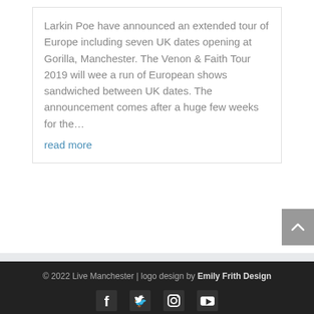Larkin Poe have announced an extended tour of Europe including seven UK dates opening at Gorilla, Manchester.  The Venon & Faith Tour 2019 will wee a run of European shows sandwiched between UK dates. The announcement comes after a huge few weeks for the…
read more
© 2022 Live Manchester | logo design by Emily Frith Design